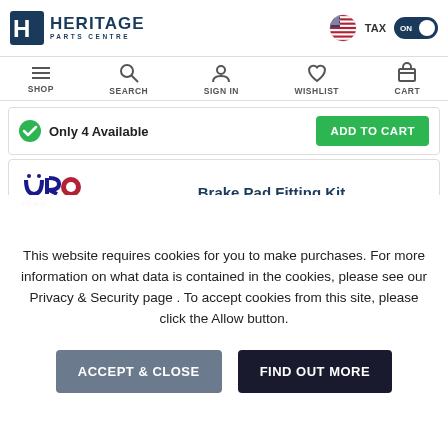Heritage Parts Centre — TAX ON
[Figure (screenshot): Heritage Parts Centre logo with stylized H icon and text, plus US flag, TAX ON toggle]
[Figure (screenshot): Navigation bar with SHOP, SEARCH, SIGN IN, WISHLIST, CART icons]
Only 4 Available
[Figure (screenshot): ADD TO CART green button]
[Figure (logo): URO Parts logo]
Brake Pad Fitting Kit
This website requires cookies for you to make purchases. For more information on what data is contained in the cookies, please see our Privacy & Security page . To accept cookies from this site, please click the Allow button.
ACCEPT & CLOSE
FIND OUT MORE